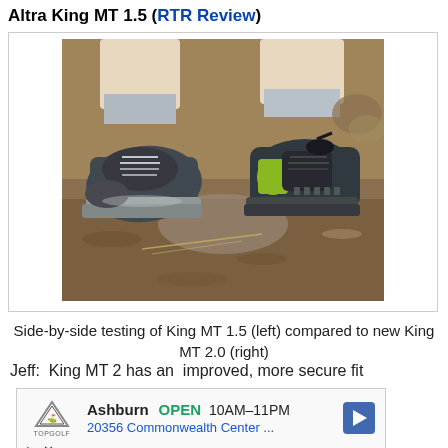Altra King MT 1.5 (RTR Review)
[Figure (photo): Side-by-side photo of two trail running shoes from above/front angle on dirt ground. Left shoe is Altra King MT 1.5 (dark gray/black), right shoe is new King MT 2.0 (dark with yellow accent). Person's legs visible above with gray socks.]
Side-by-side testing of King MT 1.5 (left) compared to new King MT 2.0 (right)
Jeff:  King MT 2 has an  improved, more secure fit
[Figure (screenshot): Advertisement for Topgolf Ashburn showing OPEN 10AM-11PM, 20356 Commonwealth Center... with navigation arrow icon and Topgolf logo. Play and close buttons at bottom.]